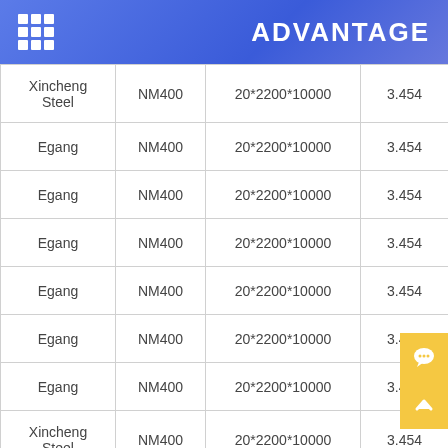ADVANTAGE
|  |  |  |  |
| --- | --- | --- | --- |
| Xincheng Steel | NM400 | 20*2200*10000 | 3.454 |
| Egang | NM400 | 20*2200*10000 | 3.454 |
| Egang | NM400 | 20*2200*10000 | 3.454 |
| Egang | NM400 | 20*2200*10000 | 3.454 |
| Egang | NM400 | 20*2200*10000 | 3.454 |
| Egang | NM400 | 20*2200*10000 | 3.454 |
| Egang | NM400 | 20*2200*10000 | 3.454 |
| Xincheng Steel | NM400 | 20*2200*10000 | 3.454 |